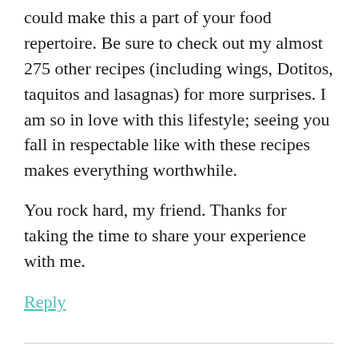could make this a part of your food repertoire. Be sure to check out my almost 275 other recipes (including wings, Dotitos, taquitos and lasagnas) for more surprises. I am so in love with this lifestyle; seeing you fall in respectable like with these recipes makes everything worthwhile.

You rock hard, my friend. Thanks for taking the time to share your experience with me.
Reply